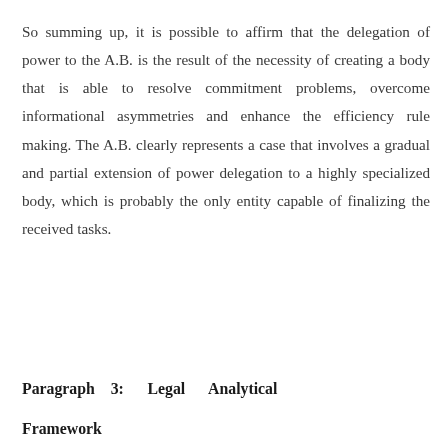So summing up, it is possible to affirm that the delegation of power to the A.B. is the result of the necessity of creating a body that is able to resolve commitment problems, overcome informational asymmetries and enhance the efficiency rule making. The A.B. clearly represents a case that involves a gradual and partial extension of power delegation to a highly specialized body, which is probably the only entity capable of finalizing the received tasks.
Paragraph 3:    Legal    Analytical Framework